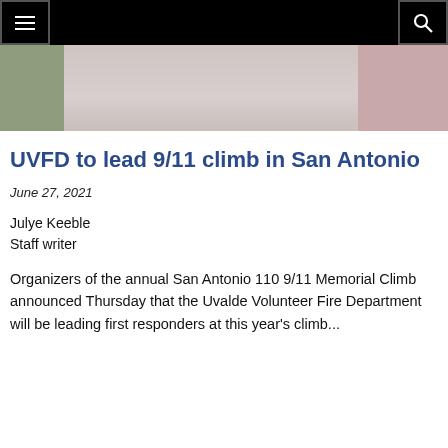Navigation bar with menu and search buttons
[Figure (photo): Cropped photo showing person in white shirt with green and pink bokeh background]
UVFD to lead 9/11 climb in San Antonio
June 27, 2021
Julye Keeble
Staff writer
Organizers of the annual San Antonio 110 9/11 Memorial Climb announced Thursday that the Uvalde Volunteer Fire Department will be leading first responders at this year's climb...